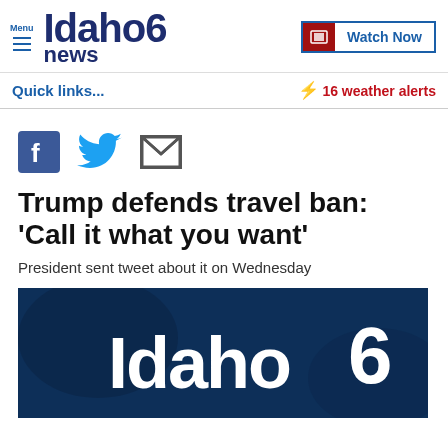Menu | Idaho News 6 | Watch Now
Quick links...
16 weather alerts
[Figure (other): Social sharing icons: Facebook, Twitter, Email]
Trump defends travel ban: 'Call it what you want'
President sent tweet about it on Wednesday
[Figure (logo): Idaho News 6 logo on dark blue background image]